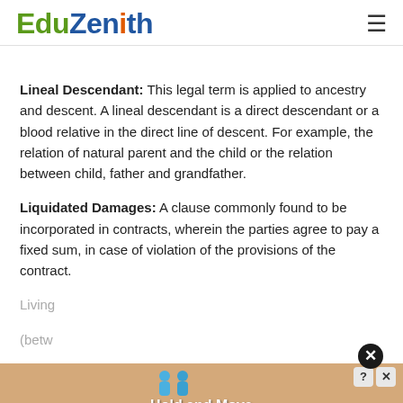EduZenith
Lineal Descendant: This legal term is applied to ancestry and descent. A lineal descendant is a direct descendant or a blood relative in the direct line of descent. For example, the relation of natural parent and the child or the relation between child, father and grandfather.
Liquidated Damages: A clause commonly found to be incorporated in contracts, wherein the parties agree to pay a fixed sum, in case of violation of the provisions of the contract.
Living... (between...
[Figure (screenshot): Ad banner showing 'Hold and Move' with two cartoon figures, with a close button (X in circle) overlay and help/close icons in top right corner]